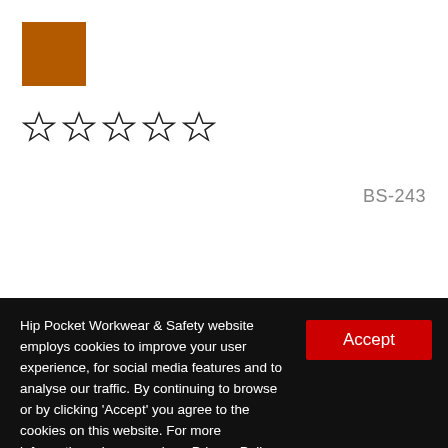[Figure (logo): Orange/brown solid square logo]
[Figure (other): Five empty star rating icons in a row]
BS-243
[Figure (photo): Tan/wheat colored work boot photographed from above at an angle, partial view]
Hip Pocket Workwear & Safety website employs cookies to improve your user experience, for social media features and to analyse our traffic. By continuing to browse or by clicking 'Accept' you agree to the cookies on this website. For more information, please read our Privacy Policy.
Accept